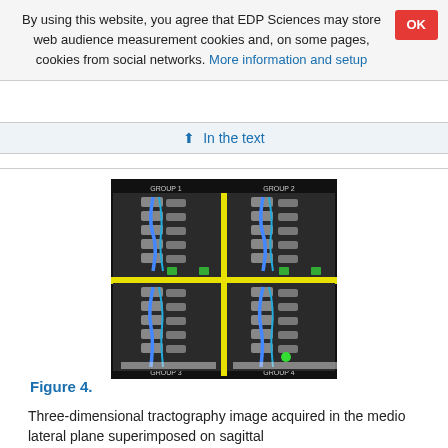By using this website, you agree that EDP Sciences may store web audience measurement cookies and, on some pages, cookies from social networks. More information and setup
↑ In the text
[Figure (photo): Three-dimensional tractography MRI images divided into four groups (GROUP 1, GROUP 2, GROUP 3, GROUP 4) showing sagittal spine scans with blue tractography overlays, separated by yellow crosshairs.]
Figure 4.
Three-dimensional tractography image acquired in the medio lateral plane superimposed on sagittal